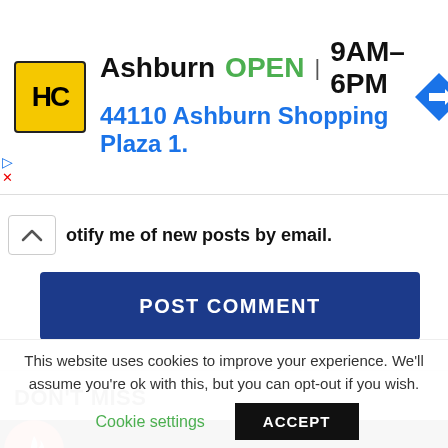[Figure (advertisement): Ad banner with HC logo (yellow/black), store name Ashburn, OPEN status, hours 9AM-6PM, address 44110 Ashburn Shopping Plaza 1., and blue navigation arrow icon]
Notify me of new posts by email.
POST COMMENT
DON'T MISS
[Figure (other): Trending/hot content bar with red circle flame icon on dark background]
This website uses cookies to improve your experience. We'll assume you're ok with this, but you can opt-out if you wish.
Cookie settings
ACCEPT